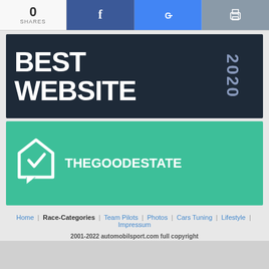0 SHARES
[Figure (logo): Best Website 2020 award banner with dark navy background, large white bold text 'BEST WEBSITE' and '2020' in bluish-gray rotated vertically on the right]
[Figure (logo): TheGoodEstate logo on teal/green background with house-checkmark icon on the left and 'THEGOODESTATE' text in white bold]
Home | Race-Categories | Team Pilots | Photos | Cars Tuning | Lifestyle | Impressum
2001-2022 automobilsport.com full copyright